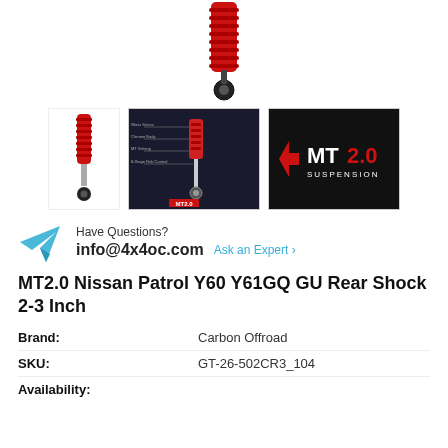[Figure (photo): Main product photo of MT2.0 red shock absorber with red coil spring boot, cropped at top]
[Figure (photo): Thumbnail: single red MT2.0 shock absorber]
[Figure (photo): Thumbnail: MT2.0 shock absorber diagram with labeled parts on dark background]
[Figure (logo): MT2.0 Suspension brand logo on black background]
Have Questions?
info@4x4oc.com   Ask an Expert >
MT2.0 Nissan Patrol Y60 Y61GQ GU Rear Shock 2-3 Inch
| Field | Value |
| --- | --- |
| Brand: | Carbon Offroad |
| SKU: | GT-26-502CR3_104 |
| Availability: |  |